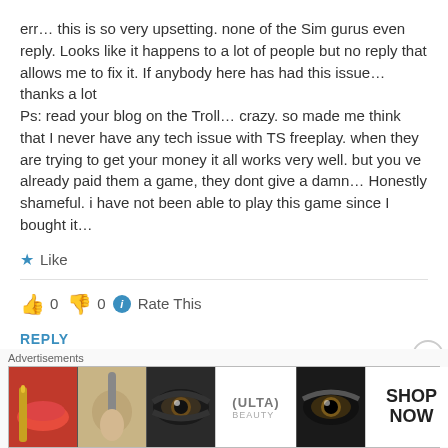err… this is so very upsetting. none of the Sim gurus even reply. Looks like it happens to a lot of people but no reply that allows me to fix it. If anybody here has had this issue… thanks a lot
Ps: read your blog on the Troll… crazy. so made me think that I never have any tech issue with TS freeplay. when they are trying to get your money it all works very well. but you ve already paid them a game, they dont give a damn… Honestly shameful. i have not been able to play this game since I bought it…
★ Like
👍 0  👎 0  ℹ Rate This
REPLY
Fiona says:
[Figure (screenshot): Ulta beauty advertisement banner with makeup images and SHOP NOW call to action]